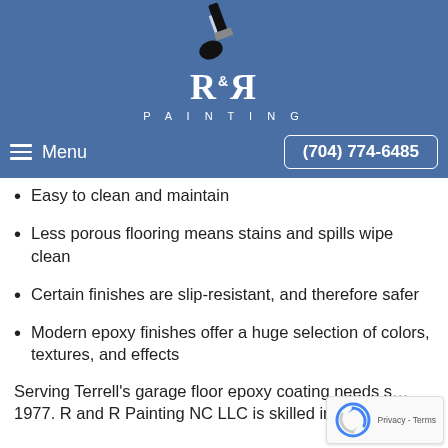[Figure (logo): R&R Painting logo with paint brush icon above stylized R&R lettering and PAINTING text below, on blue background]
Menu  (704) 774-6485
Easy to clean and maintain
Less porous flooring means stains and spills wipe clean
Certain finishes are slip-resistant, and therefore safer
Modern epoxy finishes offer a huge selection of colors, textures, and effects
Serving Terrell's garage floor epoxy coating needs s… 1977. R and R Painting NC LLC is skilled in local garage